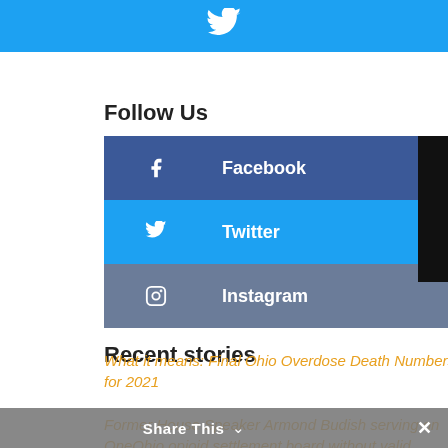[Figure (other): Twitter bird icon on light blue banner background]
Follow Us
[Figure (infographic): Social media follow buttons: Facebook (dark blue), Twitter (light blue), Instagram (grey-blue). A black badge showing '0' overlays the top-right of Facebook/Twitter rows.]
Recent stories
What it means: Final Ohio Overdose Death Numbers for 2021
Former House Speaker Armond Budish serving on OneOhio opioid settlement board without valid
Share This